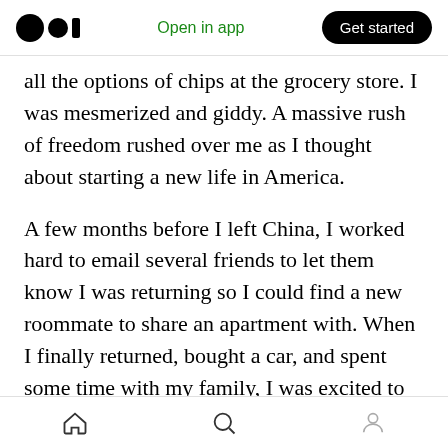Medium logo | Open in app | Get started
all the options of chips at the grocery store. I was mesmerized and giddy. A massive rush of freedom rushed over me as I thought about starting a new life in America.
A few months before I left China, I worked hard to email several friends to let them know I was returning so I could find a new roommate to share an apartment with. When I finally returned, bought a car, and spent some time with my family, I was excited to see some of my friends that I only got to [clap 4] [comment] ce a year and finally relaunch a more permanent friendship
Home | Search | Profile